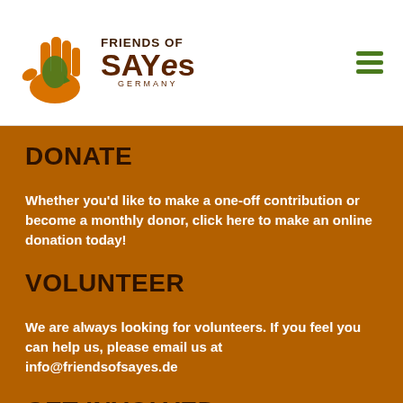[Figure (logo): Friends of SAYes Germany logo with hand/Africa icon]
DONATE
Whether you'd like to make a one-off contribution or become a monthly donor, click here to make an online donation today!
VOLUNTEER
We are always looking for volunteers. If you feel you can help us, please email us at info@friendsofsayes.de
GET INVOLVED
Run, cycle or swim! We'd love for you to get fundraising for SAYes,